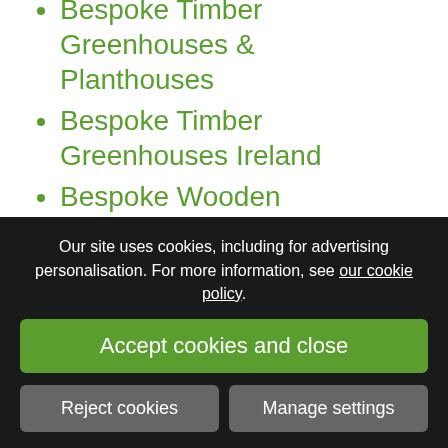Bespoke Timber Greenhouses & Planthouses
Bespoke Timber Greenhouses Ireland
Bespoke Wooden Garden Buildings
Bespoke Wooden Summerhouses
Best BUY Biohort at Owen Chubb
Our site uses cookies, including for advertising personalisation. For more information, see our cookie policy.
Accept cookies and close
Reject cookies
Manage settings